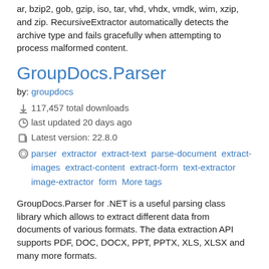ar, bzip2, gob, gzip, iso, tar, vhd, vhdx, vmdk, wim, xzip, and zip. RecursiveExtractor automatically detects the archive type and fails gracefully when attempting to process malformed content.
GroupDocs.Parser
by: groupdocs
117,457 total downloads
last updated 20 days ago
Latest version: 22.8.0
parser extractor extract-text parse-document extract-images extract-content extract-form text-extractor image-extractor form More tags
GroupDocs.Parser for .NET is a useful parsing class library which allows to extract different data from documents of various formats. The data extraction API supports PDF, DOC, DOCX, PPT, PPTX, XLS, XLSX and many more formats.
OldSchool.I18n